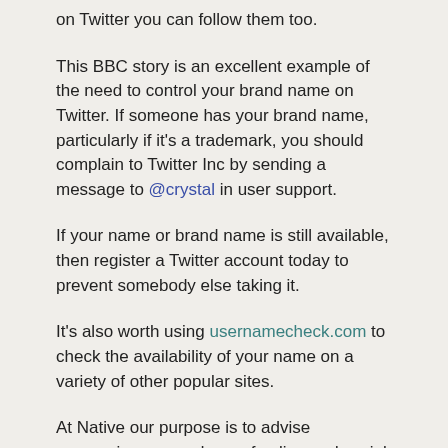on Twitter you can follow them too.
This BBC story is an excellent example of the need to control your brand name on Twitter. If someone has your brand name, particularly if it's a trademark, you should complain to Twitter Inc by sending a message to @crystal in user support.
If your name or brand name is still available, then register a Twitter account today to prevent somebody else taking it.
It's also worth using usernamecheck.com to check the availability of your name on a variety of other popular sites.
At Native our purpose is to advise companies on good use of online and social media. This is advice we give to all our clients. As such, the BBC story is given here purely as an illustrative example. I'm not going to labour this point – there are many other examples of Twitter squatting but I won't be attempting to catalogue them all.